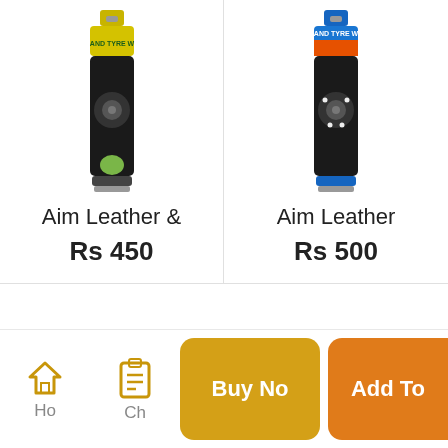[Figure (photo): Spray can product - Aim Leather & Tyre product, yellow/green cap, left column]
Aim Leather &
Rs 450
[Figure (photo): Spray can product - Aim Leather Tyre product, blue cap, right column]
Aim Leather
Rs 500
[Figure (screenshot): Mobile app bottom navigation bar with Home icon, Checkout icon, Buy Now button (gold), Add To Cart button (orange)]